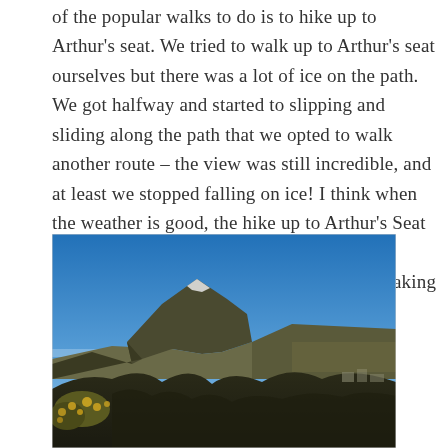of the popular walks to do is to hike up to Arthur's seat. We tried to walk up to Arthur's seat ourselves but there was a lot of ice on the path. We got halfway and started to slipping and sliding along the path that we opted to walk another route – the view was still incredible, and at least we stopped falling on ice! I think when the weather is good, the hike up to Arthur's Seat would take about 2 hours and is a must for anyone who loves the outdoors and enjoys taking in a good view.
[Figure (photo): Outdoor photograph of Arthur's Seat hill in Edinburgh. Clear bright blue sky. Snow-dusted rocky peaks in the middle ground. Dark hillside vegetation in the foreground including yellow gorse bushes. City buildings visible in the distance at lower right.]